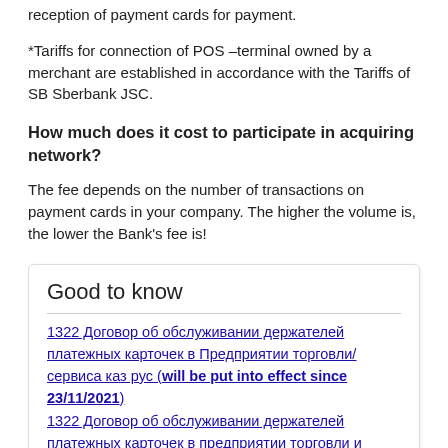reception of payment cards for payment.
*Tariffs for connection of POS –terminal owned by a merchant are established in accordance with the Tariffs of SB Sberbank JSC.
How much does it cost to participate in acquiring network?
The fee depends on the number of transactions on payment cards in your company. The higher the volume is, the lower the Bank's fee is!
Good to know
1322 Договор об обслуживании держателей платежных карточек в Предприятии торговли/сервиса каз рус (will be put into effect since 23/11/2021)
1322 Договор об обслуживании держателей платежных карточек в предприятии торговли и сервиса_каз рус
1322 Договор об обслуживании держателей платежных